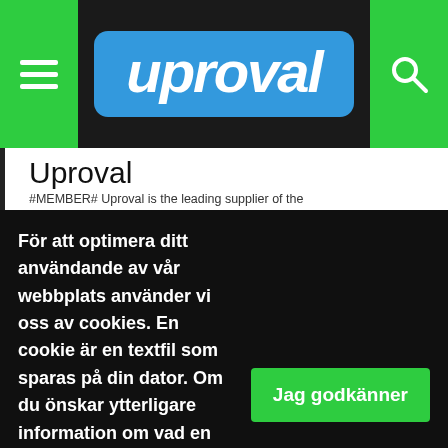uproval
Uproval
#MEMBER# Uproval is the leading supplier of the
För att optimera ditt användande av vår webbplats använder vi oss av cookies. En cookie är en textfil som sparas på din dator. Om du önskar ytterligare information om vad en cookie är, vilka cookies vi använder, vad syftet med cookien är eller hur du kan blockera eller radera cookies, vänligen läs Om cookies.
Jag godkänner